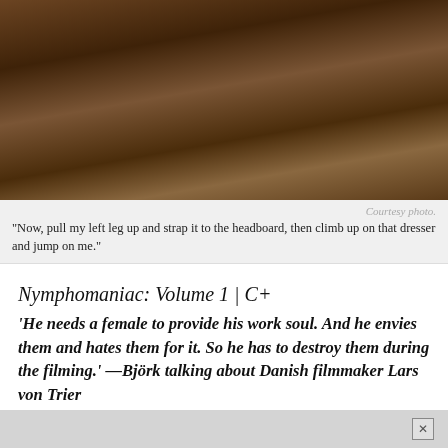[Figure (photo): A person on a brown leather couch with rope/strap restraints visible]
Courtesy photo.
"Now, pull my left leg up and strap it to the headboard, then climb up on that dresser and jump on me."
Nymphomaniac: Volume 1 | C+
'He needs a female to provide his work soul. And he envies them and hates them for it. So he has to destroy them during the filming.' —Björk talking about Danish filmmaker Lars von Trier
Let's get this out of the way: I could have done without